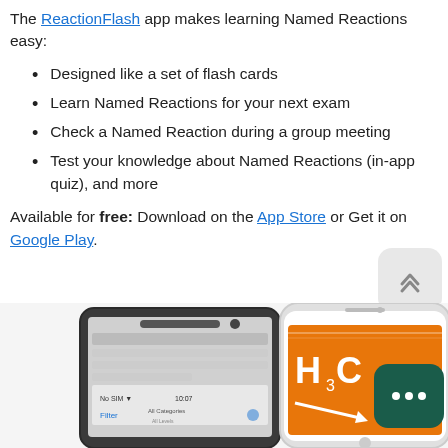The ReactionFlash app makes learning Named Reactions easy:
Designed like a set of flash cards
Learn Named Reactions for your next exam
Check a Named Reaction during a group meeting
Test your knowledge about Named Reactions (in-app quiz), and more
Available for free: Download on the App Store or Get it on Google Play.
[Figure (photo): Two smartphones showing the ReactionFlash app interface. One Android device on the left and one iPhone on the right showing chemistry content with H3C chemical notation on an orange background.]